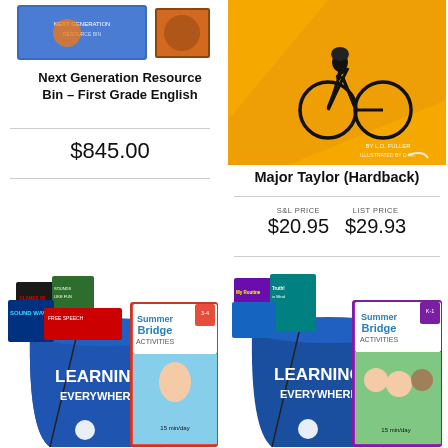[Figure (photo): Next Generation Resource Bin - First Grade English product photo showing books and materials]
Next Generation Resource Bin – First Grade English
$845.00
[Figure (photo): Major Taylor hardback book cover showing a cyclist on a yellow background]
Major Taylor (Hardback)
S&L PRICE $20.95  LIST PRICE $29.93
[Figure (photo): Learning Everywhere summer bridge bag kit with books including Flames of Freedom, Sound Waves, Free Speech, Summer Bridge Activities grades 3-4]
[Figure (photo): Learning Everywhere summer bridge bag kit with books including My Routine, Truth, Summer Bridge Activities grades K-1]